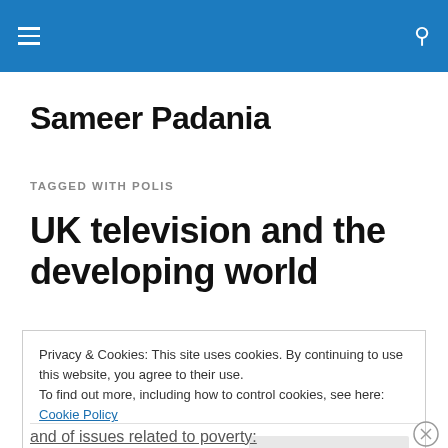Navigation bar with hamburger menu and search icon
Sameer Padania
TAGGED WITH POLIS
UK television and the developing world
Privacy & Cookies: This site uses cookies. By continuing to use this website, you agree to their use.
To find out more, including how to control cookies, see here: Cookie Policy
Close and accept
and of issues related to poverty: